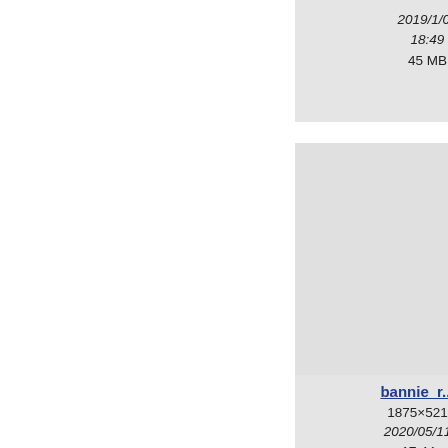[Figure (screenshot): File browser/gallery view showing image thumbnails with filenames bannie_r... and bbbh..., dimensions, dates, and file sizes. Partial view showing 2x3 grid of cards, cropped on right side.]